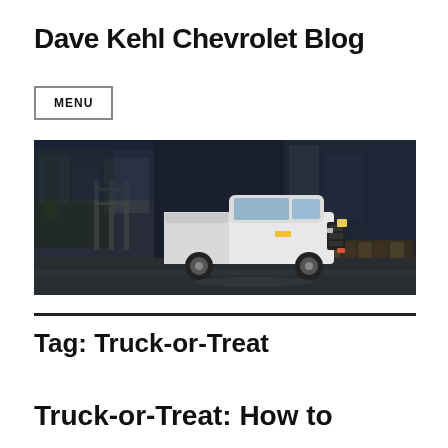Dave Kehl Chevrolet Blog
MENU
[Figure (photo): A white Chevrolet pickup truck driving through an urban alley scene at night, with industrial/warehouse background.]
Tag: Truck-or-Treat
Truck-or-Treat: How to